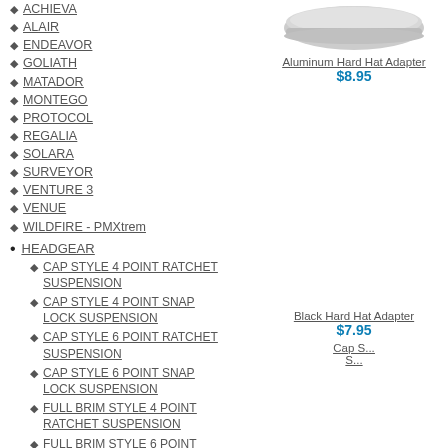ACHIEVA
ALAIR
ENDEAVOR
GOLIATH
MATADOR
MONTEGO
PROTOCOL
REGALIA
SOLARA
SURVEYOR
VENTURE 3
VENUE
WILDFIRE - PMXtrem
HEADGEAR
CAP STYLE 4 POINT RATCHET SUSPENSION
CAP STYLE 4 POINT SNAP LOCK SUSPENSION
CAP STYLE 6 POINT RATCHET SUSPENSION
CAP STYLE 6 POINT SNAP LOCK SUSPENSION
FULL BRIM STYLE 4 POINT RATCHET SUSPENSION
FULL BRIM STYLE 6 POINT RATCHET SUSPENSION
SLEEK SHELL CAP STYLE 4 POINT RATCHET SUSPENSION
[Figure (photo): Aluminum Hard Hat Adapter product image - gray curved adapter]
Aluminum Hard Hat Adapter $8.95
[Figure (photo): Black Hard Hat Adapter product image]
Black Hard Hat Adapter $7.95
Cap S...